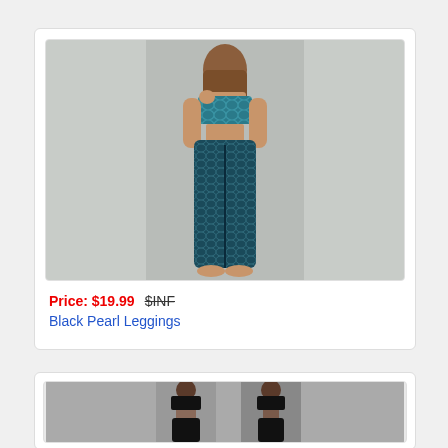[Figure (photo): Woman wearing blue/teal mermaid-scale patterned leggings and crop top, standing against light gray background.]
Price: $19.99   $INF
Black Pearl Leggings
[Figure (photo): Two views of a woman wearing black leggings and sports bra against dark background.]